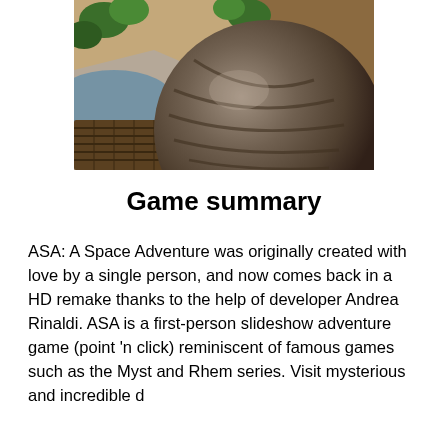[Figure (photo): A game screenshot showing a large dark metallic sphere on a stylized landscape with wooden structures, rocky terrain, greenery, and water in the background.]
Game summary
ASA: A Space Adventure was originally created with love by a single person, and now comes back in a HD remake thanks to the help of developer Andrea Rinaldi. ASA is a first-person slideshow adventure game (point 'n click) reminiscent of famous games such as the Myst and Rhem series. Visit mysterious and incredible d...